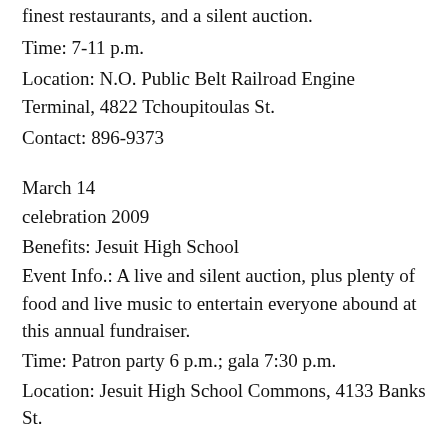finest restaurants, and a silent auction.
Time: 7-11 p.m.
Location: N.O. Public Belt Railroad Engine Terminal, 4822 Tchoupitoulas St.
Contact: 896-9373
March 14
celebration 2009
Benefits: Jesuit High School
Event Info.: A live and silent auction, plus plenty of food and live music to entertain everyone abound at this annual fundraiser.
Time: Patron party 6 p.m.; gala 7:30 p.m.
Location: Jesuit High School Commons, 4133 Banks St.